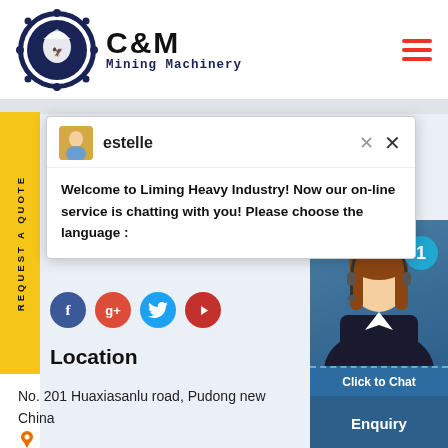[Figure (logo): C&M Mining Machinery logo with eagle gear icon and company name]
[Figure (screenshot): Chat popup from Liming Heavy Industry with agent named estelle]
Welcome to Liming Heavy Industry! Now our on-line service is chatting with you! Please choose the language :
[Figure (infographic): Social media icons: Facebook, Google+, Twitter, YouTube]
Location
No. 201 Huaxiasanlu road, Pudong new China
[Figure (photo): Customer service agent photo with Click to Chat button and Enquiry label on right side widget]
REQUEST A QUOTE